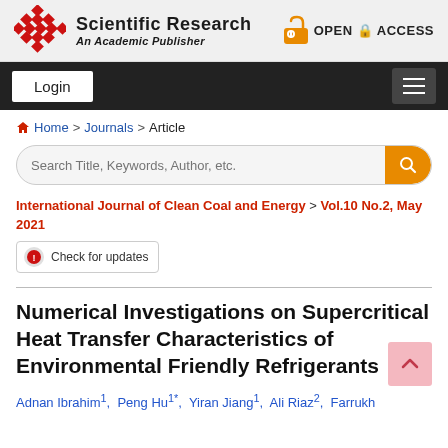[Figure (logo): Scientific Research publisher logo with red diamond pattern and text 'Scientific Research An Academic Publisher', plus Open Access lock icon on the right]
[Figure (screenshot): Navigation bar with Login button on left and hamburger menu on right]
Home > Journals > Article
[Figure (screenshot): Search bar with placeholder 'Search Title, Keywords, Author, etc.' and orange search button]
International Journal of Clean Coal and Energy > Vol.10 No.2, May 2021
[Figure (screenshot): Check for updates badge button]
Numerical Investigations on Supercritical Heat Transfer Characteristics of Environmental Friendly Refrigerants
Adnan Ibrahim1, Peng Hu1*, Yiran Jiang1, Ali Riaz2, Farrukh